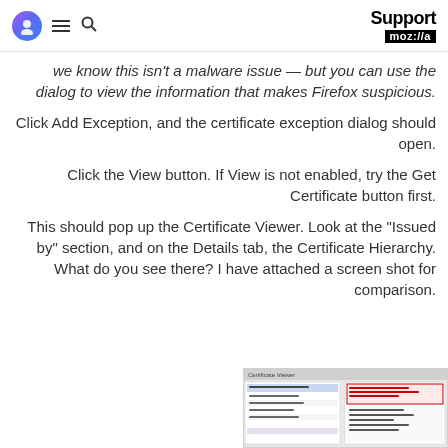Support moz://a
we know this isn't a malware issue — but you can use the dialog to view the information that makes Firefox suspicious.
Click Add Exception, and the certificate exception dialog should open.
Click the View button. If View is not enabled, try the Get Certificate button first.
This should pop up the Certificate Viewer. Look at the "Issued by" section, and on the Details tab, the Certificate Hierarchy. What do you see there? I have attached a screen shot for comparison.
[Figure (screenshot): Screenshot of Firefox Certificate Viewer dialog showing certificate details and hierarchy]